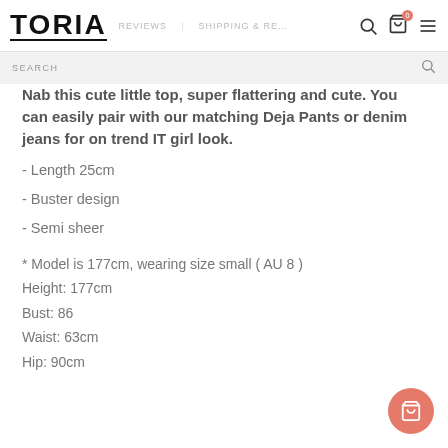TORIA | REVIEWS | SHIPPING & RETURNS
Nab this cute little top, super flattering and cute. You can easily pair with our matching Deja Pants or denim jeans for on trend IT girl look.
- Length 25cm
- Buster design
- Semi sheer
* Model is 177cm, wearing size small ( AU 8 )
Height: 177cm
Bust: 86
Waist: 63cm
Hip: 90cm